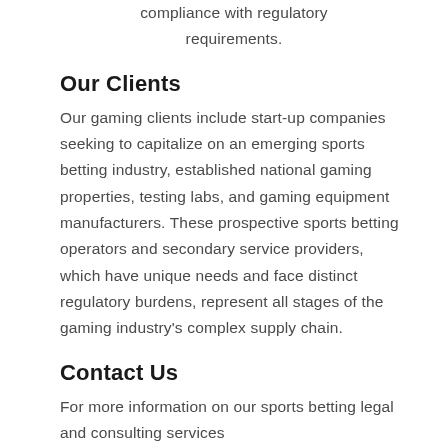compliance with regulatory requirements.
Our Clients
Our gaming clients include start-up companies seeking to capitalize on an emerging sports betting industry, established national gaming properties, testing labs, and gaming equipment manufacturers. These prospective sports betting operators and secondary service providers, which have unique needs and face distinct regulatory burdens, represent all stages of the gaming industry's complex supply chain.
Contact Us
For more information on our sports betting legal and consulting services